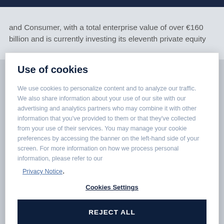and Consumer, with a total enterprise value of over €160 billion and is currently investing its eleventh private equity
Use of cookies
We use cookies to personalize content and to analyze our traffic. We also share information about your use of our site with our advertising and analytics partners who may combine it with other information that you've provided to them or that they've collected from your use of their services. You may manage your cookie preferences by accessing the banner on the left-hand side of your screen. For more information on how we process personal information, please refer to our Privacy Notice.
Cookies Settings
REJECT ALL
ACCEPT ALL